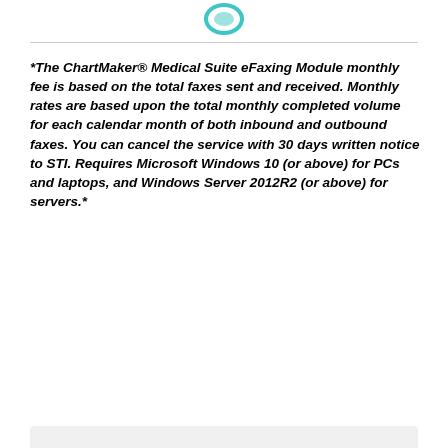[Figure (logo): Partial teal/blue logo icon at top center]
*The ChartMaker® Medical Suite eFaxing Module monthly fee is based on the total faxes sent and received. Monthly rates are based upon the total monthly completed volume for each calendar month of both inbound and outbound faxes. You can cancel the service with 30 days written notice to STI. Requires Microsoft Windows 10 (or above) for PCs and laptops, and Windows Server 2012R2 (or above) for servers.*